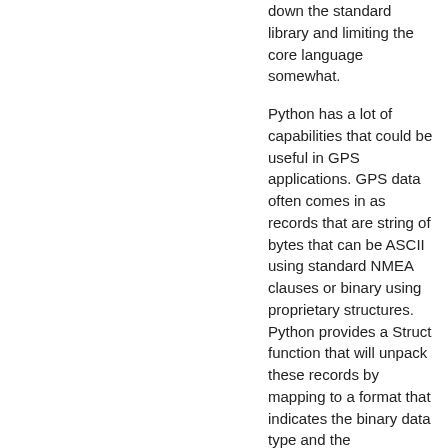down the standard library and limiting the core language somewhat.
Python has a lot of capabilities that could be useful in GPS applications. GPS data often comes in as records that are string of bytes that can be ASCII using standard NMEA clauses or binary using proprietary structures. Python provides a Struct function that will unpack these records by mapping to a format that indicates the binary data type and the